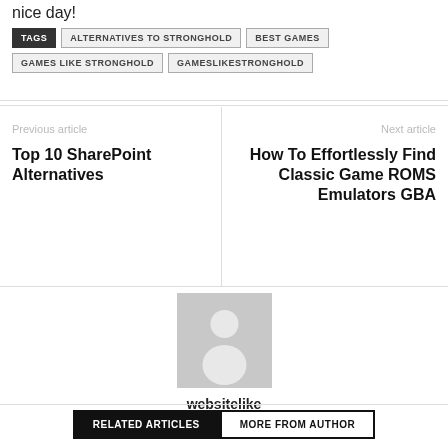nice day!
TAGS  ALTERNATIVES TO STRONGHOLD  BEST GAMES  GAMES LIKE STRONGHOLD  GAMESLIKESTRONGHOLD
Previous article
Top 10 SharePoint Alternatives
Next article
How To Effortlessly Find Classic Game ROMS Emulators GBA
[Figure (illustration): Generic user avatar silhouette placeholder image on grey background]
websitelike
RELATED ARTICLES  MORE FROM AUTHOR